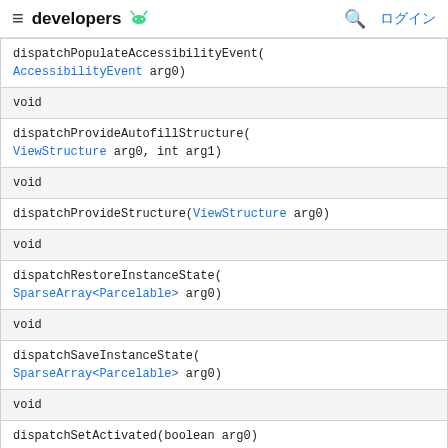developers
| dispatchPopulateAccessibilityEvent(AccessibilityEvent arg0) |
| void |
| dispatchProvideAutofillStructure(ViewStructure arg0, int arg1) |
| void |
| dispatchProvideStructure(ViewStructure arg0) |
| void |
| dispatchRestoreInstanceState(SparseArray<Parcelable> arg0) |
| void |
| dispatchSaveInstanceState(SparseArray<Parcelable> arg0) |
| void |
| dispatchSetActivated(boolean arg0) |